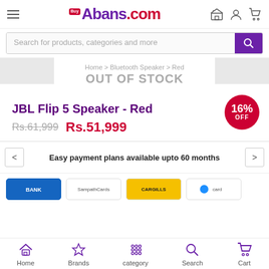BuyAbans.com header with hamburger menu, logo, and icons
Search for products, categories and more
Home > Bluetooth Speaker > Red
OUT OF STOCK
JBL Flip 5 Speaker - Red
Rs.61,999  Rs.51,999
16% OFF
Easy payment plans available upto 60 months
Home  Brands  category  Search  Cart